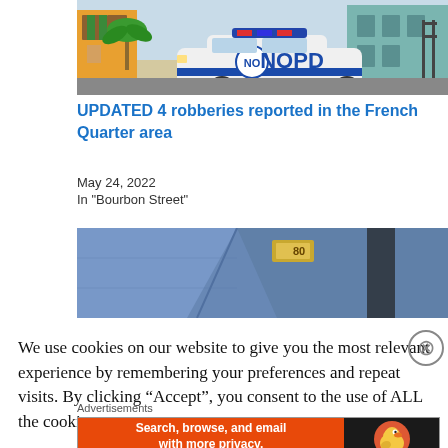[Figure (illustration): Cartoon illustration of an NOPD police car parked on a colorful city street with buildings and a palm tree in the background]
UPDATED 4 robberies reported in the French Quarter area
May 24, 2022
In "Bourbon Street"
[Figure (photo): Close-up photo of a police officer's blue uniform shirt collar with a gold badge number pinned to it]
We use cookies on our website to give you the most relevant experience by remembering your preferences and repeat visits. By clicking “Accept”, you consent to the use of ALL the cookies.
Advertisements
[Figure (other): DuckDuckGo advertisement banner: Search, browse, and email with more privacy. All in One Free App. Shows DuckDuckGo logo on dark background.]